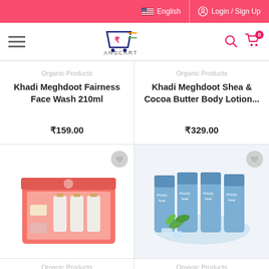English | Login / Sign Up
[Figure (screenshot): ANSCart e-commerce website navigation bar with hamburger menu, logo, search and cart icons]
Organic Products
Khadi Meghdoot Fairness Face Wash 210ml
₹159.00
Organic Products
Khadi Meghdoot Shea & Cocoa Butter Body Lotion...
₹329.00
[Figure (photo): Khadi Meghdoot pink gift box set with soaps and bottles]
[Figure (photo): Prickly Heat talc powder products in blue packaging with mint leaves]
Organic Products
Organic Products